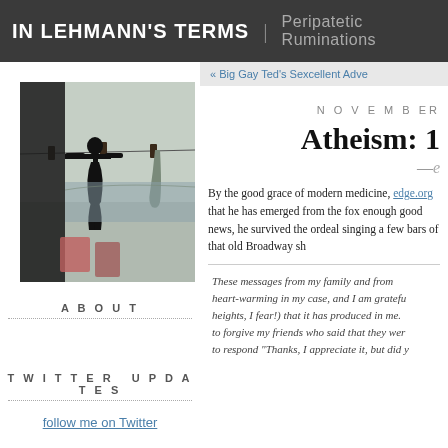IN LEHMANN'S TERMS | Peripatetic Ruminations
[Figure (photo): Silhouette of a crucifix figure hanging on a clothesline with wooden clothespins, laundry hanging in the background, overcast sky]
ABOUT
TWITTER UPDATES
follow me on Twitter
« Big Gay Ted's Sexcellent Adve
NOVEMBER
Atheism: 1
By the good grace of modern medicine, edge.org that he has emerged from the fox enough good news, he survived the ordeal singing a few bars of that old Broadway sh
These messages from my family and from heart-warming in my case, and I am gratefu heights, I fear!) that it has produced in me. to forgive my friends who said that they wer to respond "Thanks, I appreciate it, but did y